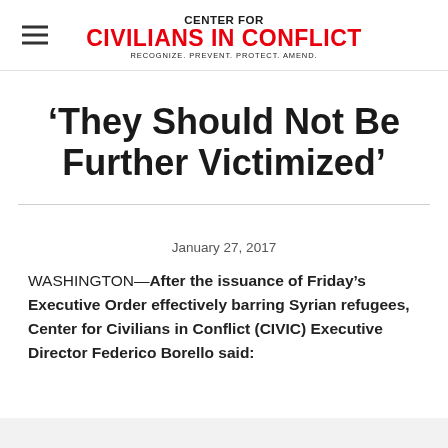CENTER FOR CIVILIANS IN CONFLICT — RECOGNIZE. PREVENT. PROTECT. AMEND.
‘They Should Not Be Further Victimized’
January 27, 2017
WASHINGTON—After the issuance of Friday’s Executive Order effectively barring Syrian refugees, Center for Civilians in Conflict (CIVIC) Executive Director Federico Borello said: